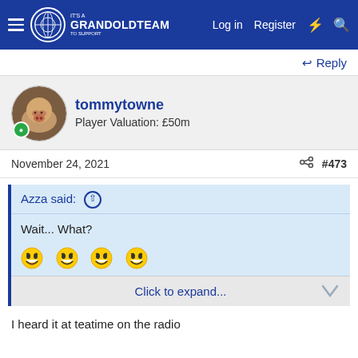GrandOldTeam - Log in | Register
Reply
tommytowne
Player Valuation: £50m
November 24, 2021  #473
Azza said:
Wait... What?
😂😂😂😂
Click to expand...
I heard it at teatime on the radio